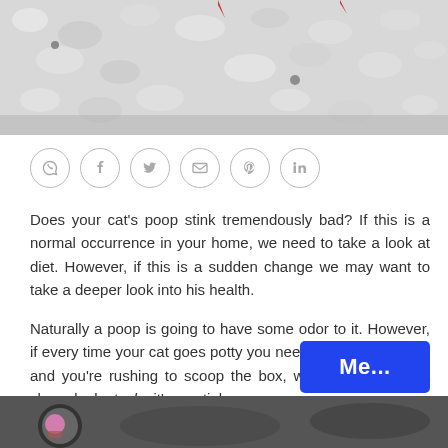[Figure (photo): Close-up photo of white cat litter with some red elements visible, top portion of the page]
[Figure (infographic): Row of social sharing icons: WhatsApp, Facebook, Twitter, Email, Pinterest, LinkedIn — circular outlined icons in gray]
Does your cat's poop stink tremendously bad? If this is a normal occurrence in your home, we need to take a look at diet. However, if this is a sudden change we may want to take a deeper look into his health.
Naturally a poop is going to have some odor to it. However, if every time your cat goes potty you need to open a window and you're rushing to scoop the box, we'll want to take a closer look at why it's so stinky.
[Figure (other): Blue button with white text reading 'Me...' in bottom right corner]
[Figure (photo): Dark/grayscale photo strip at the very bottom of the page, partially visible]